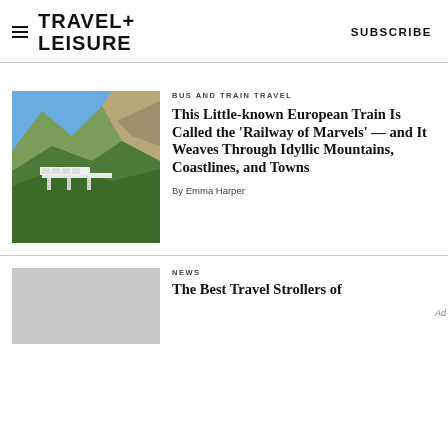TRAVEL+ LEISURE   SUBSCRIBE
[Figure (photo): Aerial view of a white train crossing a viaduct bridge through green mountainous terrain under a blue sky]
BUS AND TRAIN TRAVEL
This Little-known European Train Is Called the 'Railway of Marvels' — and It Weaves Through Idyllic Mountains, Coastlines, and Towns
By Emma Harper
NEWS
The Best Travel Strollers of